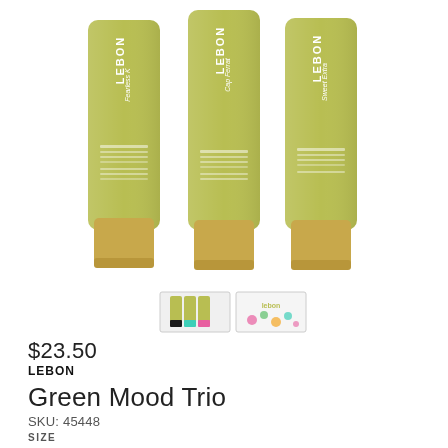[Figure (photo): Three yellow-green toothpaste tubes with gold caps from the brand LEBON — Fearless K, Cap Ferrat, and Sweet Extravagance — displayed side by side on white background. Two thumbnail images shown below: one with three tubes variant and one with floral packaging.]
$23.50
LEBON
Green Mood Trio
SKU: 45448
SIZE
3 x 25 ml